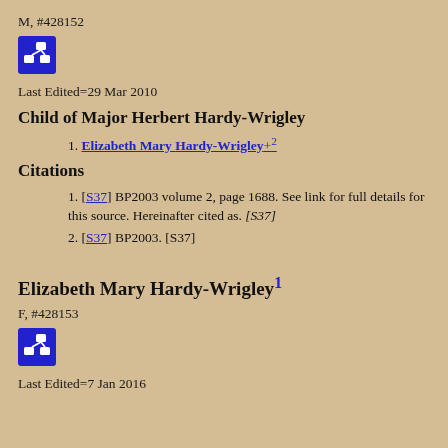M, #428152
[Figure (other): Blue icon button with network/tree diagram symbol]
Last Edited=29 Mar 2010
Child of Major Herbert Hardy-Wrigley
1. Elizabeth Mary Hardy-Wrigley+2
Citations
1. [S37] BP2003 volume 2, page 1688. See link for full details for this source. Hereinafter cited as. [S37]
2. [S37] BP2003. [S37]
Elizabeth Mary Hardy-Wrigley1
F, #428153
[Figure (other): Blue icon button with network/tree diagram symbol]
Last Edited=7 Jan 2016